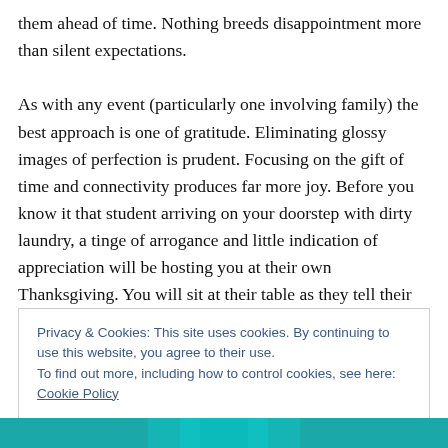them ahead of time. Nothing breeds disappointment more than silent expectations.

As with any event (particularly one involving family) the best approach is one of gratitude. Eliminating glossy images of perfection is prudent. Focusing on the gift of time and connectivity produces far more joy. Before you know it that student arriving on your doorstep with dirty laundry, a tinge of arrogance and little indication of appreciation will be hosting you at their own Thanksgiving. You will sit at their table as they tell their own family the
Privacy & Cookies: This site uses cookies. By continuing to use this website, you agree to their use.
To find out more, including how to control cookies, see here: Cookie Policy
Close and accept
[Figure (photo): Teal/turquoise image strip visible at the bottom of the page]